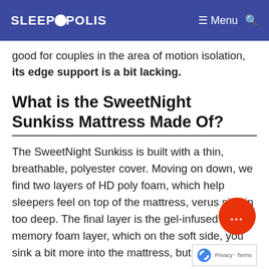SLEEPOPOLIS  ≡ Menu  🔍
good for couples in the area of motion isolation, its edge support is a bit lacking.
What is the SweetNight Sunkiss Mattress Made Of?
The SweetNight Sunkiss is built with a thin, breathable, polyester cover. Moving on down, we find two layers of HD poly foam, which help sleepers feel on top of the mattress, verus sink in too deep. The final layer is the gel-infused memory foam layer, which on the soft side, you sink a bit more into the mattress, but when